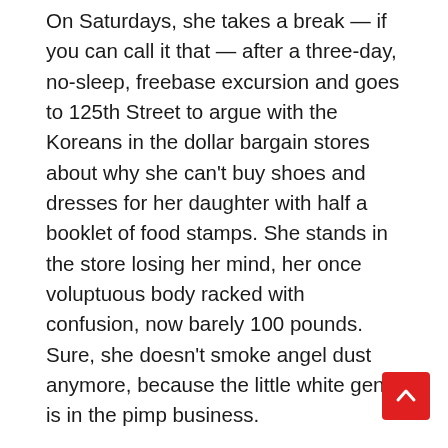On Saturdays, she takes a break — if you can call it that — after a three-day, no-sleep, freebase excursion and goes to 125th Street to argue with the Koreans in the dollar bargain stores about why she can't buy shoes and dresses for her daughter with half a booklet of food stamps. She stands in the store losing her mind, her once voluptuous body racked with confusion, now barely 100 pounds. Sure, she doesn't smoke angel dust anymore, because the little white genie is in the pimp business.
Then there's Beanie, from Esplanade Gardens (a lower middle class co-op in Harlem). Beanie, with the flapjack-wide grin and Bambi-innocent eyes. Beanie, the altar boy at St. Charles on 141st Street. Beanie, the epitome of perpetual bowed-head hood humility and quiet, parochial